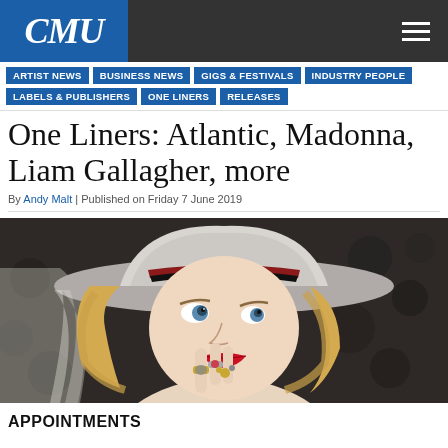CMU
ARTIST NEWS | BUSINESS NEWS | GIGS & FESTIVALS | INDUSTRY PEOPLE | LABELS & PUBLISHERS | ONE LINERS | RELEASES
One Liners: Atlantic, Madonna, Liam Gallagher, more
By Andy Malt | Published on Friday 7 June 2019
[Figure (photo): Madonna wearing a wide-brimmed white/grey hat with red and black trim, blonde hair, red lips, posing with rings on her fingers near her mouth, dark textured background]
APPOINTMENTS